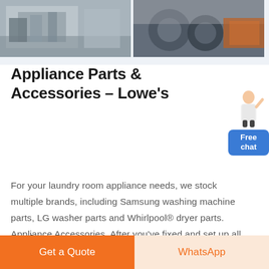[Figure (photo): Two industrial/factory photos side by side: left shows a manufacturing line with machinery, right shows industrial equipment with rolls of material.]
Appliance Parts & Accessories – Lowe's
[Figure (illustration): Small illustration of a female assistant figure with a blue 'Free chat' button below.]
For your laundry room appliance needs, we stock multiple brands, including Samsung washing machine parts, LG washer parts and Whirlpool® dryer parts. Appliance Accessories. After you've fixed and set up all of your appliances, be sure to check out our line of accessories.
Read More
Get a Quote
WhatsApp